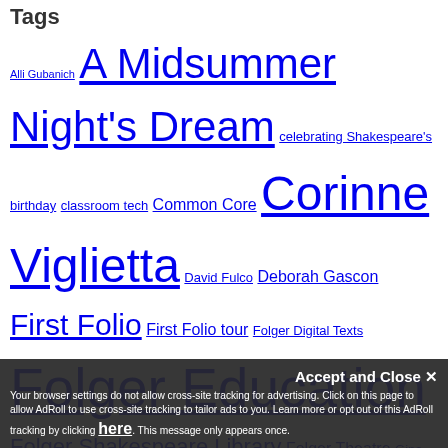Tags
Alli Gubanich A Midsummer Night's Dream celebrating Shakespeare's birthday classroom tech Common Core Corinne Viglietta David Fulco Deborah Gascon First Folio First Folio tour Folger Digital Texts Folger Education Folger Shakespeare Library Folger Theatre Gina Voskov Hamlet Introducing Shakespeare Julius Caesar King Lear language Macbeth Mark Miazga NCTE Othello Peggy O'Brien Richard III Romeo and Juliet Secondary School Shakespeare Festival Shakespeare Shakespeare in American Life Summer Academy alumtales
Accept and Close ✕ Your browser settings do not allow cross-site tracking for advertising. Click on this page to allow AdRoll to use cross-site tracking to tailor ads to you. Learn more or opt out of this AdRoll tracking by clicking here. This message only appears once.